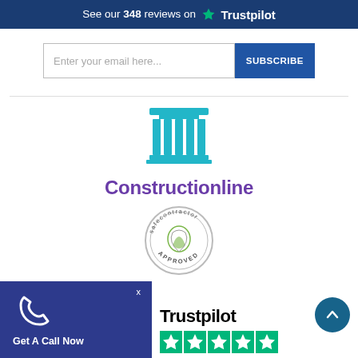See our 348 reviews on ★ Trustpilot
[Figure (screenshot): Email subscription input field with placeholder 'Enter your email here...' and a blue SUBSCRIBE button]
[Figure (logo): Constructionline logo: teal Greek column icon above purple bold text 'Constructionline']
[Figure (logo): Safecontractor Approved circular badge with stylized leaf and shield motif]
[Figure (logo): Trustpilot logo and green star rating strip at bottom of page]
[Figure (infographic): Dark blue 'Get A Call Now' widget overlay in lower left corner with phone icon and X close button]
[Figure (other): Teal circular back-to-top arrow button in bottom right]